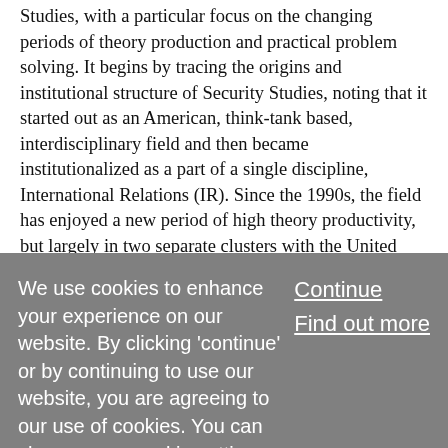Studies, with a particular focus on the changing periods of theory production and practical problem solving. It begins by tracing the origins and institutional structure of Security Studies, noting that it started out as an American, think-tank based, interdisciplinary field and then became institutionalized as a part of a single discipline, International Relations (IR). Since the 1990s, the field has enjoyed a new period of high theory productivity, but largely in two separate clusters with the United States and Europe as centres of each. Among important developments during the so-called Golden Age of Security Studies were game theory and deterrence theory. The chapter proceeds by examining the stagnation of Security Studies before concluding with an assessment of future prospects and
We use cookies to enhance your experience on our website. By clicking 'continue' or by continuing to use our website, you are agreeing to our use of cookies. You can change your cookie settings at any time.
Continue
Find out more